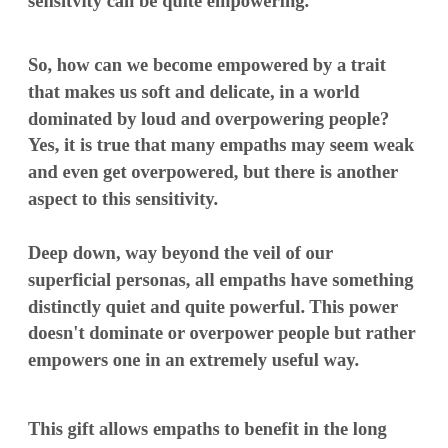sensitvity can be quite empowering.
So, how can we become empowered by a trait that makes us soft and delicate, in a world dominated by loud and overpowering people? Yes, it is true that many empaths may seem weak and even get overpowered, but there is another aspect to this sensitivity.
Deep down, way beyond the veil of our superficial personas, all empaths have something distinctly quiet and quite powerful. This power doesn't dominate or overpower people but rather empowers one in an extremely useful way.
This gift allows empaths to benefit in the long